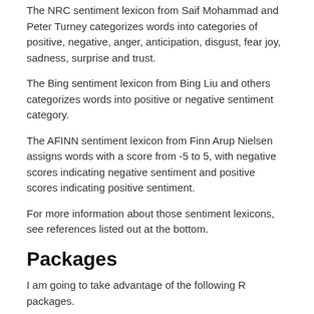The NRC sentiment lexicon from Saif Mohammad and Peter Turney categorizes words into categories of positive, negative, anger, anticipation, disgust, fear joy, sadness, surprise and trust.
The Bing sentiment lexicon from Bing Liu and others categorizes words into positive or negative sentiment category.
The AFINN sentiment lexicon from Finn Arup Nielsen assigns words with a score from -5 to 5, with negative scores indicating negative sentiment and positive scores indicating positive sentiment.
For more information about those sentiment lexicons, see references listed out at the bottom.
Packages
I am going to take advantage of the following R packages.
[Figure (screenshot): Code block showing R suppressPackageStartupMessages library calls for stringr, dplyr, tidytext, tidyr, textdata, widyr, ggplot2]